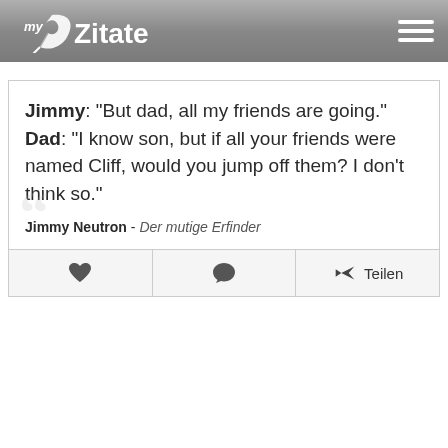myZitate
Jimmy: "But dad, all my friends are going." Dad: "I know son, but if all your friends were named Cliff, would you jump off them? I don't think so."
Jimmy Neutron - Der mutige Erfinder